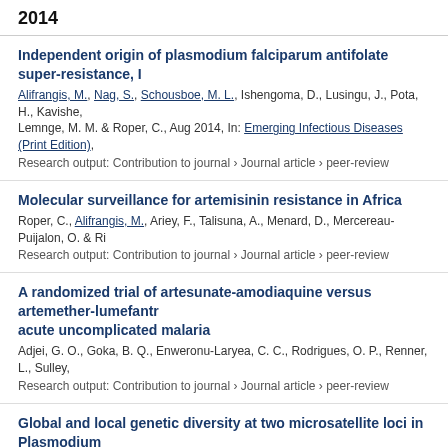2014
Independent origin of plasmodium falciparum antifolate super-resistance,
Alifrangis, M., Nag, S., Schousboe, M. L., Ishengoma, D., Lusingu, J., Pota, H., Kavishe, Lemnge, M. M. & Roper, C., Aug 2014, In: Emerging Infectious Diseases (Print Edition).
Research output: Contribution to journal › Journal article › peer-review
Molecular surveillance for artemisinin resistance in Africa
Roper, C., Alifrangis, M., Ariey, F., Talisuna, A., Menard, D., Mercereau-Puijalon, O. & Ri
Research output: Contribution to journal › Journal article › peer-review
A randomized trial of artesunate-amodiaquine versus artemether-lumefantr acute uncomplicated malaria
Adjei, G. O., Goka, B. Q., Enweronu-Laryea, C. C., Rodrigues, O. P., Renner, L., Sulley.
Research output: Contribution to journal › Journal article › peer-review
Global and local genetic diversity at two microsatellite loci in Plasmodium
Schousboe, M. L., Ranjitkar, S., Rajakaruna, R. S., Amerasinghe, P. H., Konradsen, F., Alifrangis, M. & Roper, C., 2014, In: Malaria Journal. 13, p. 392
Research output: Contribution to journal › Journal article › peer-review
2013
Human genetic polymorphisms in the Knops blood group are not associate Southern Ghana
Hansson, H. H., Kurtzhals, J. A., Goka, B. Q., Rodriques, O. P., Nkrumah, F. N., Theand
Research output: Contribution to journal › Journal article › peer-review